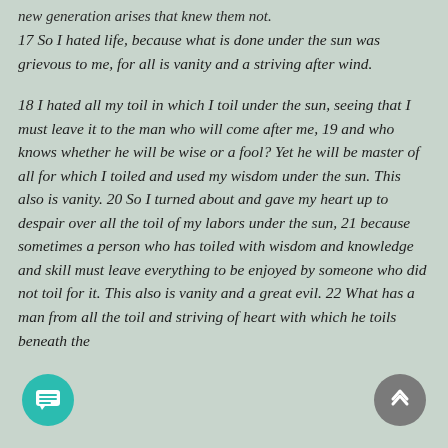new generation arises that knew them not.
17 So I hated life, because what is done under the sun was grievous to me, for all is vanity and a striving after wind.
18 I hated all my toil in which I toil under the sun, seeing that I must leave it to the man who will come after me, 19 and who knows whether he will be wise or a fool? Yet he will be master of all for which I toiled and used my wisdom under the sun. This also is vanity. 20 So I turned about and gave my heart up to despair over all the toil of my labors under the sun, 21 because sometimes a person who has toiled with wisdom and knowledge and skill must leave everything to be enjoyed by someone who did not toil for it. This also is vanity and a great evil. 22 What has a man from all the toil and striving of heart with which he toils beneath the